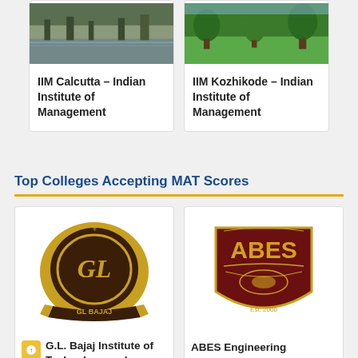[Figure (photo): Aerial/landscape photo of IIM Calcutta campus with water body and buildings]
IIM Calcutta – Indian Institute of Management
[Figure (photo): Green lawn/garden photo of IIM Kozhikode campus]
IIM Kozhikode – Indian Institute of Management
Top Colleges Accepting MAT Scores
[Figure (logo): GL Bajaj Institute of Technology and Management logo – gold and brown emblem with GL Bajaj text]
G.L. Bajaj Institute of Technology and
[Figure (logo): ABES Engineering College logo – maroon shield with ABES text, Est. 2000]
ABES Engineering